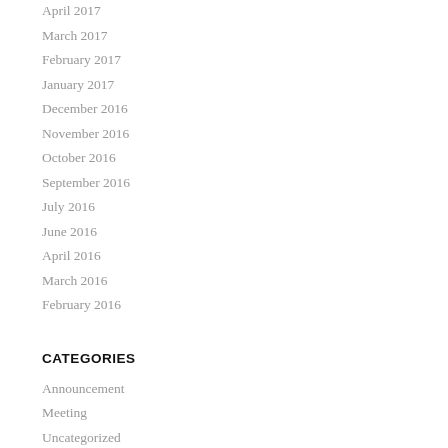April 2017
March 2017
February 2017
January 2017
December 2016
November 2016
October 2016
September 2016
July 2016
June 2016
April 2016
March 2016
February 2016
CATEGORIES
Announcement
Meeting
Uncategorized